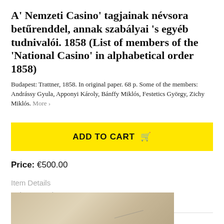A' Nemzeti Casino' tagjainak névsora betűrenddel, annak szabályai 's egyéb tudnivalói. 1858 (List of members of the 'National Casino' in alphabetical order 1858)
Budapest: Trattner, 1858. In original paper. 68 p. Some of the members: Andrássy Gyula, Apponyi Károly, Bánffy Miklós, Festetics György, Zichy Miklós. More ›
ADD TO CART 🛒
Price: €500.00
Item Details
Ask a Question
[Figure (photo): Partial view of an aged, yellowed document or map page, showing faint handwriting or printed lines on a cream/tan colored paper background.]